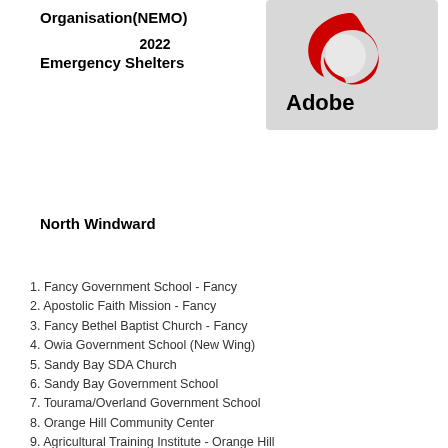Organisation(NEMO)
2022
Emergency Shelters
[Figure (logo): Adobe PDF logo with red swirl and black 'Adobe' text on grey background]
North Windward
1. Fancy Government School - Fancy
2. Apostolic Faith Mission - Fancy
3. Fancy Bethel Baptist Church - Fancy
4. Owia Government School (New Wing)
5. Sandy Bay SDA Church
6. Sandy Bay Government School
7. Tourama/Overland Government School
8. Orange Hill Community Center
9. Agricultural Training Institute - Orange Hill
10. Langley Park Government School
11. Dickson Methodist Church